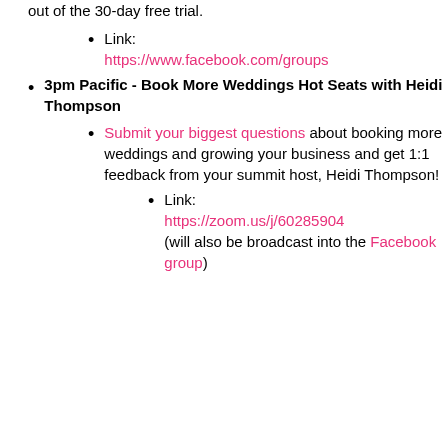Link: https://www.facebook.com/groups/...
3pm Pacific - Book More Weddings Hot Seats with Heidi Thompson
Submit your biggest questions about booking more weddings and growing your business and get 1:1 feedback from your summit host, Heidi Thompson!
Link: https://zoom.us/j/60285904... (will also be broadcast into the Facebook group)